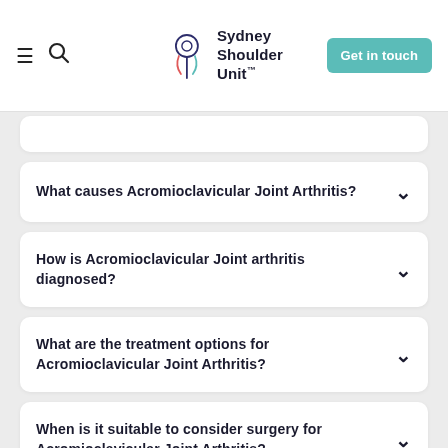Sydney Shoulder Unit — Get in touch
What causes Acromioclavicular Joint Arthritis?
How is Acromioclavicular Joint arthritis diagnosed?
What are the treatment options for Acromioclavicular Joint Arthritis?
When is it suitable to consider surgery for Acromioclavicular Joint Arthritis?